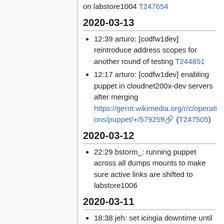on labstore1004 T247654
2020-03-13
12:39 arturo: [codfw1dev] reintroduce address scopes for another round of testing T244851
12:17 arturo: [codfw1dev] enabling puppet in cloudnet200x-dev servers after merging https://gerrit.wikimedia.org/r/c/operations/puppet/+/579259 (T247505)
2020-03-12
22:29 bstorm_: running puppet across all dumps mounts to make sure active links are shifted to labstore1006
2020-03-11
18:38 jeh: set icingia downtime until